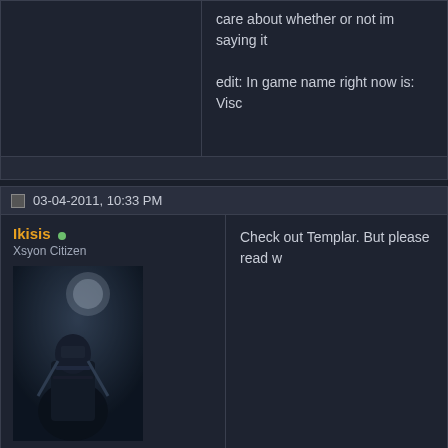care about whether or not im saying it
edit: In game name right now is: Visc
03-04-2011, 10:33 PM
Ikisis
Xsyon Citizen
[Figure (photo): Avatar image of armored dark fantasy warrior figure]
Join Date: Mar 2010
Posts: 370
Check out Templar. But please read w
03-04-2011, 11:12 PM
Archangei
Xsyon Citizen
Join Date: Feb 2011
Posts: 287
Deathwatch - Neutral Trading Outpos
Today we passed 30 members (count website),
so we aint the biggest but still fairy